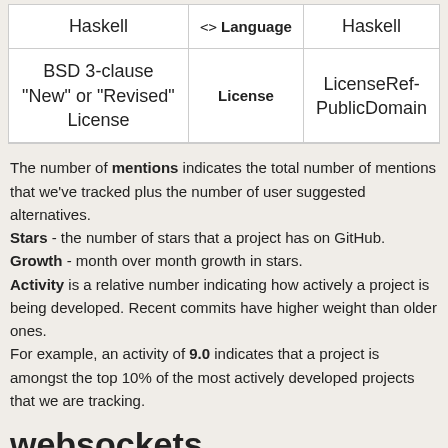|  | Language / License |  |
| --- | --- | --- |
| Haskell | <> Language | Haskell |
| BSD 3-clause "New" or "Revised" License | License | LicenseRef-PublicDomain |
The number of mentions indicates the total number of mentions that we've tracked plus the number of user suggested alternatives.
Stars - the number of stars that a project has on GitHub. Growth - month over month growth in stars.
Activity is a relative number indicating how actively a project is being developed. Recent commits have higher weight than older ones.
For example, an activity of 9.0 indicates that a project is amongst the top 10% of the most actively developed projects that we are tracking.
websockets
Posts with mentions or reviews of websockets. We have used some of these posts to build our list of alternatives and similar